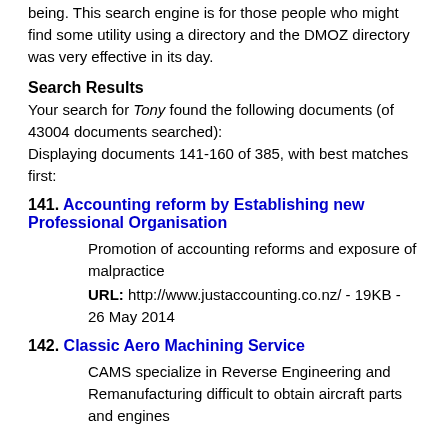being. This search engine is for those people who might find some utility using a directory and the DMOZ directory was very effective in its day.
Search Results
Your search for Tony found the following documents (of 43004 documents searched):
Displaying documents 141-160 of 385, with best matches first:
141. Accounting reform by Establishing new Professional Organisation
Promotion of accounting reforms and exposure of malpractice
URL: http://www.justaccounting.co.nz/ - 19KB - 26 May 2014
142. Classic Aero Machining Service
CAMS specialize in Reverse Engineering and Remanufacturing difficult to obtain aircraft parts and engines